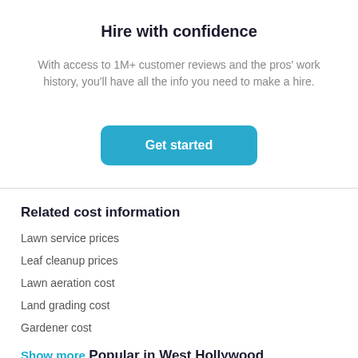Hire with confidence
With access to 1M+ customer reviews and the pros' work history, you'll have all the info you need to make a hire.
[Figure (other): Blue rounded button labeled 'Get started']
Related cost information
Lawn service prices
Leaf cleanup prices
Lawn aeration cost
Land grading cost
Gardener cost
Show more
Popular in West Hollywood